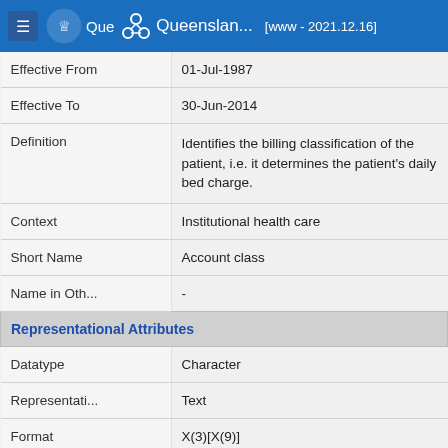≡  Que  Queensland...  [www - 2021.12.16]
| Effective From | 01-Jul-1987 |
| Effective To | 30-Jun-2014 |
| Definition | Identifies the billing classification of the patient, i.e. it determines the patient's daily bed charge. |
| Context | Institutional health care |
| Short Name | Account class |
| Name in Oth... | - |
| Representational Attributes |  |
| Datatype | Character |
| Representati... | Text |
| Format | X(3)[X(9)] |